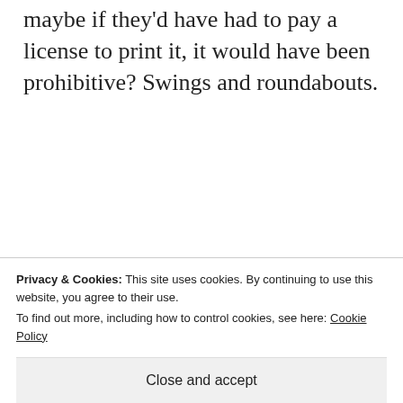maybe if they'd have had to pay a license to print it, it would have been prohibitive? Swings and roundabouts.
★ Liked by 2 people
Log in to Reply
[Figure (illustration): User avatar placeholder — grey rounded square with a silhouette icon]
Michele Marsh
Privacy & Cookies: This site uses cookies. By continuing to use this website, you agree to their use.
To find out more, including how to control cookies, see here: Cookie Policy
Close and accept
full credit for the photos and